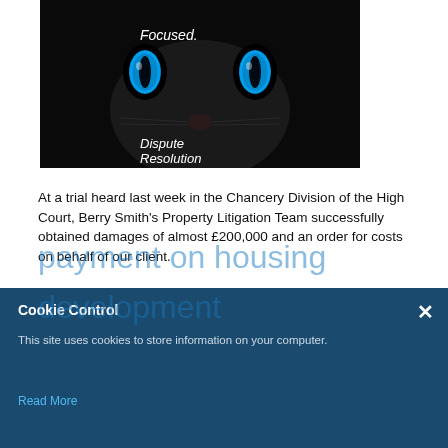[Figure (photo): Black cat with glowing blue eyes on a dark background. Text overlay reads 'Focused.' and 'Dispute Resolution']
At a trial heard last week in the Chancery Division of the High Court, Berry Smith's Property Litigation Team successfully obtained damages of almost £200,000 and an order for costs on behalf of our client.
Read more
Seller entitled to overage payment on housing development
Cookie Control
This site uses cookies to store information on your computer.
Read More